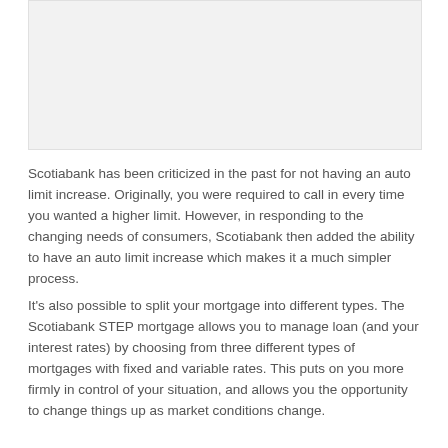[Figure (other): Image placeholder or screenshot at top of page]
Scotiabank has been criticized in the past for not having an auto limit increase. Originally, you were required to call in every time you wanted a higher limit. However, in responding to the changing needs of consumers, Scotiabank then added the ability to have an auto limit increase which makes it a much simpler process.
It's also possible to split your mortgage into different types. The Scotiabank STEP mortgage allows you to manage loan (and your interest rates) by choosing from three different types of mortgages with fixed and variable rates. This puts on you more firmly in control of your situation, and allows you the opportunity to change things up as market conditions change.